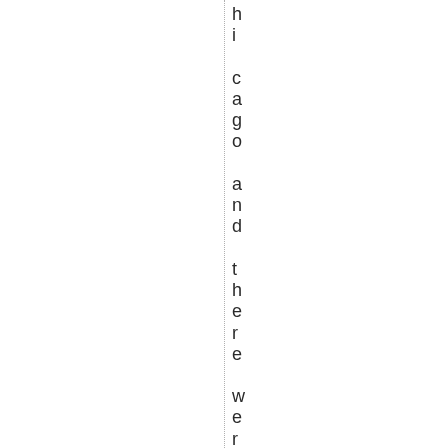hicago and there were some ind